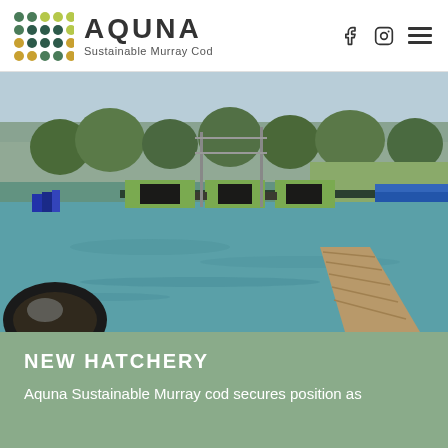AQUUNA Sustainable Murray Cod
[Figure (photo): Outdoor fish hatchery facility with green algae-covered floating platforms in clear blue-green water, surrounded by eucalyptus trees and open farmland. A wooden boardwalk extends into the water on the right. Part of a car side mirror is visible in the bottom-left corner.]
NEW HATCHERY
Aquna Sustainable Murray cod secures position as